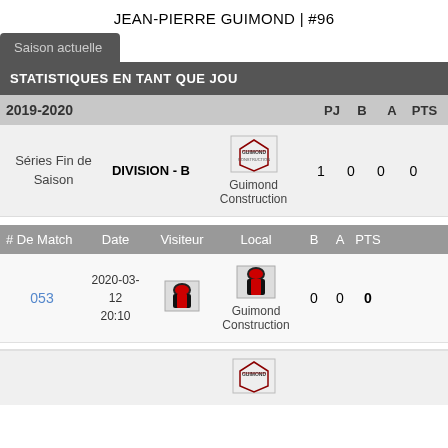JEAN-PIERRE GUIMOND | #96
Saison actuelle
STATISTIQUES EN TANT QUE JOU
| 2019-2020 |  |  |  | PJ | B | A | PTS |
| --- | --- | --- | --- | --- | --- | --- | --- |
| Séries Fin de Saison | DIVISION - B | Guimond Construction |  | 1 | 0 | 0 | 0 |
| # De Match | Date | Visiteur | Local | B | A | PTS |
| --- | --- | --- | --- | --- | --- | --- |
| 053 | 2020-03-12 20:10 | [visitor logo] | Guimond Construction | 0 | 0 | 0 |
[Figure (logo): Guimond Construction team logo (small)]
[Figure (logo): Visitor team jersey/logo]
[Figure (logo): Guimond Construction team logo (match)]
[Figure (logo): Guimond Construction partial logo at bottom]